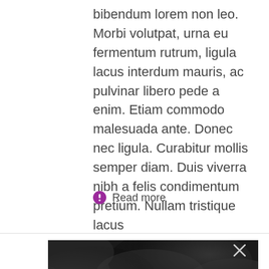bibendum lorem non leo. Morbi volutpat, urna eu fermentum rutrum, ligula lacus interdum mauris, ac pulvinar libero pede a enim. Etiam commodo malesuada ante. Donec nec ligula. Curabitur mollis semper diam. Duis viverra nibh a felis condimentum pretium. Nullam tristique lacus
Read more
[Figure (photo): Dark smoky or cloudy background photo with a close/X button in the upper right corner]